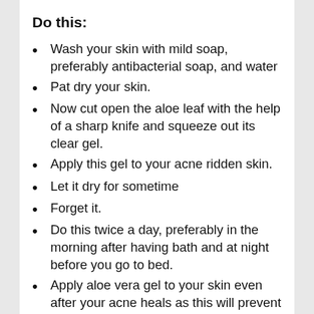Do this:
Wash your skin with mild soap, preferably antibacterial soap, and water
Pat dry your skin.
Now cut open the aloe leaf with the help of a sharp knife and squeeze out its clear gel.
Apply this gel to your acne ridden skin.
Let it dry for sometime
Forget it.
Do this twice a day, preferably in the morning after having bath and at night before you go to bed.
Apply aloe vera gel to your skin even after your acne heals as this will prevent further acne breakouts.